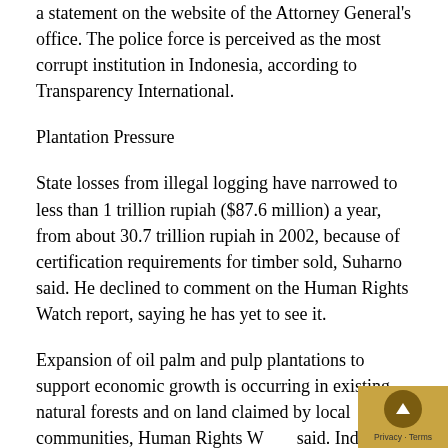a statement on the website of the Attorney General's office. The police force is perceived as the most corrupt institution in Indonesia, according to Transparency International.
Plantation Pressure
State losses from illegal logging have narrowed to less than 1 trillion rupiah ($87.6 million) a year, from about 30.7 trillion rupiah in 2002, because of certification requirements for timber sold, Suharno said. He declined to comment on the Human Rights Watch report, saying he has yet to see it.
Expansion of oil palm and pulp plantations to support economic growth is occurring in existing natural forests and on land claimed by local communities, Human Rights Watch said. Indonesia has become the world's largest produc palm oil, used to make cooking oil, biscuits and other